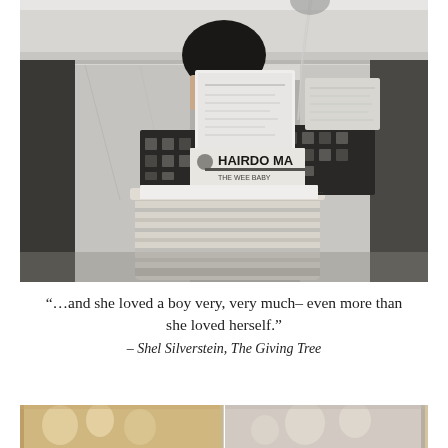[Figure (photo): Black and white photo of a woman sitting, holding a gift basket filled with wrapped items including a 'Hairdo Maker' box, with patterned tissue paper visible. A balloon string trails down from the top of the frame. Marble architectural details visible in background.]
“…and she loved a boy very, very much– even more than she loved herself.”
– Shel Silverstein, The Giving Tree
[Figure (photo): Color photo strip at bottom showing two partial images with balloon decorations and warm golden tones, partially cut off at page edge.]